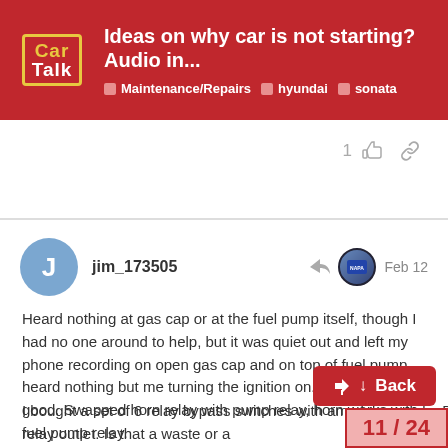Ideas on why car is not starting? Audio in... | Maintenance/Repairs | hyundai | sonata
jim_173505 Feb 12
Heard nothing at gas cap or at the fuel pump itself, though I had no one around to help, but it was quiet out and left my phone recording on open gas cap and on top of fuel pump, heard nothing but me turning the ignition on. Pump fuse is good. Swapped horn relay with pump relay, horn works with fuel pump relay.
I bought a set of 6 relay bypass switches with amp loops and a DC clamp meter but none fit my relay outlet. Is that a waste or a
11 / 24